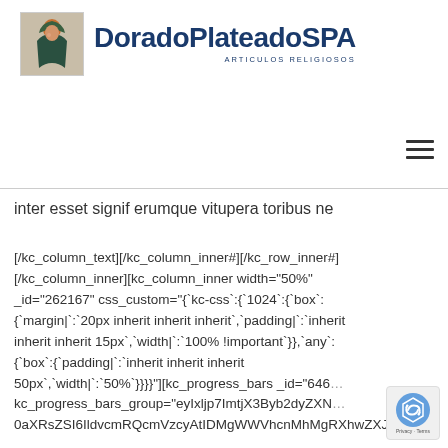[Figure (logo): DoradoPlateadoSPA logo with religious figure icon on left and bold dark blue text reading DoradoPlateadoSPA with subtitle ARTICULOS RELIGIOSOS]
[Figure (other): Hamburger menu icon (three horizontal lines) in upper right area]
inter esset signif erumque vitupera toribus ne
[/kc_column_text][/kc_column_inner#][/kc_row_inner#][/kc_column_inner][kc_column_inner width="50%" _id="262167" css_custom="{`kc-css`:{`1024`:{`box`:{`margin|`:`20px inherit inherit inherit`,`padding|`:`inherit inherit inherit 15px`,`width|`:`100% !important`}},`any`:{`box`:{`padding|`:`inherit inherit inherit 50px`,`width|`:`50%`}}}}"][kc_progress_bars _id="646... kc_progress_bars_group="eyIxljp7ImtjX3Byb2dyZXN... 0aXRsZSI6IldvcmRQcmVzcyAtIDMgWWVhcnMhMgRXhwZXJp